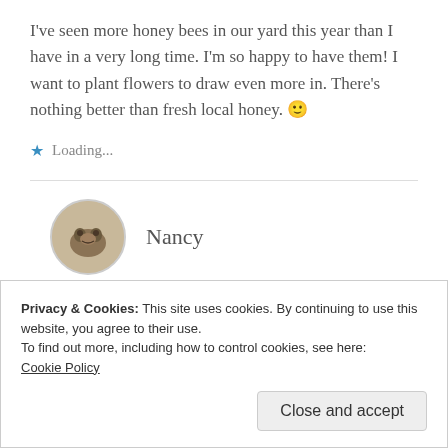I've seen more honey bees in our yard this year than I have in a very long time. I'm so happy to have them! I want to plant flowers to draw even more in. There's nothing better than fresh local honey. 🙂
Loading...
Nancy
Privacy & Cookies: This site uses cookies. By continuing to use this website, you agree to their use.
To find out more, including how to control cookies, see here: Cookie Policy
Close and accept